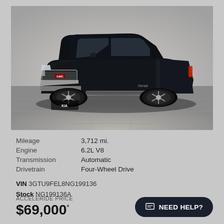[Figure (photo): Black GMC Sierra 1500 Denali pickup truck, front three-quarter view, parked on a tiled surface with a neutral grey background.]
| Mileage | 3,712 mi. |
| Engine | 6.2L V8 |
| Transmission | Automatic |
| Drivetrain | Four-Wheel Drive |
VIN 3GTU9FEL8NG199136
Stock NG199136A
ACCELERIDE PRICE
$69,000*
NEED HELP?